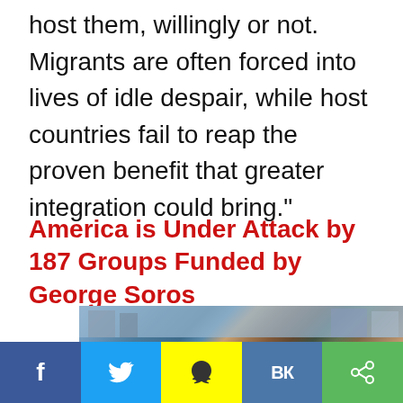host them, willingly or not. Migrants are often forced into lives of idle despair, while host countries fail to reap the proven benefit that greater integration could bring."
America is Under Attack by 187 Groups Funded by George Soros
[Figure (photo): A large crowd of people on a city street, appearing to be migrants or refugees, with urban buildings visible in the background.]
f  [Twitter bird]  [Snapchat ghost]  VK  [Share icon]